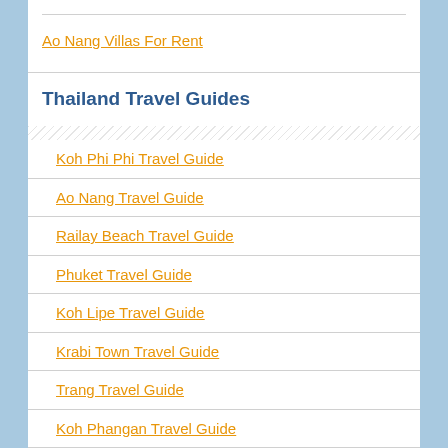Ao Nang Villas For Rent
Thailand Travel Guides
Koh Phi Phi Travel Guide
Ao Nang Travel Guide
Railay Beach Travel Guide
Phuket Travel Guide
Koh Lipe Travel Guide
Krabi Town Travel Guide
Trang Travel Guide
Koh Phangan Travel Guide
Koh Samui Travel Guide